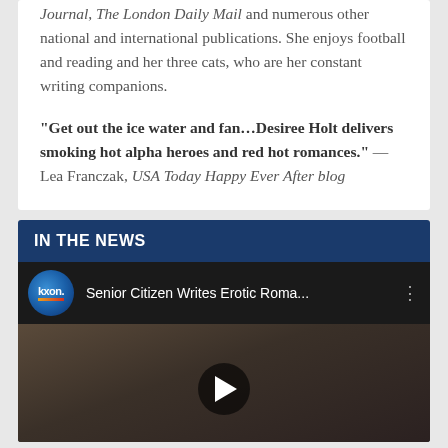Journal, The London Daily Mail and numerous other national and international publications. She enjoys football and reading and her three cats, who are her constant writing companions.
“Get out the ice water and fan…Desiree Holt delivers smoking hot alpha heroes and red hot romances.” — Lea Franczak, USA Today Happy Ever After blog
IN THE NEWS
[Figure (screenshot): A YouTube-style embedded video thumbnail showing a kxon news logo and the title 'Senior Citizen Writes Erotic Roma...' with a play button overlay on a darkened video frame.]